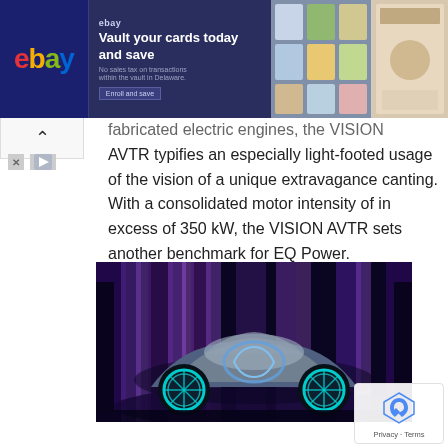[Figure (screenshot): eBay advertisement banner with logo, 'Vault your cards today and save' text, trading card images on right side]
fabricated electric engines, the VISION AVTR typifies an especially light-footed usage of the vision of a unique extravagance canting. With a consolidated motor intensity of in excess of 350 kW, the VISION AVTR sets another benchmark for EQ Power.
[Figure (photo): Mercedes-Benz VISION AVTR concept car with glowing blue wheel lights in a dark purple forest environment]